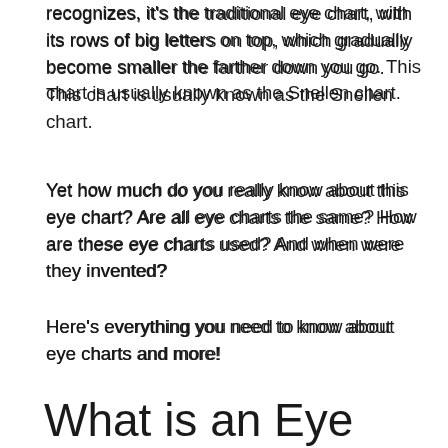recognizes, it's the traditional eye chart, with its rows of big letters on top, which gradually become smaller the farther down you go. This chart is usually known as the Snellen chart.
Yet how much do you really know about this eye chart? Are all eye charts the same? How are these eye charts used? And when were they invented?
Here's everything you need to know about eye charts and more!
What is an Eye Chart?
An eye chart is one of the tools your eye doctor uses to assess your eyesight. Based on how well you can see various letters on the chart, your optometrist will determine whether you have myopia (nearsightedness), hyperopia (farsightedness), presbyopia (age-related